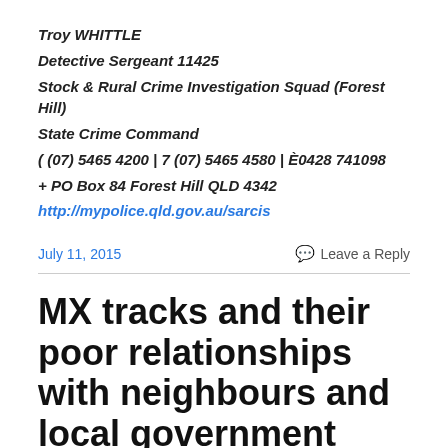Troy WHITTLE
Detective Sergeant 11425
Stock & Rural Crime Investigation Squad (Forest Hill)
State Crime Command
( (07) 5465 4200 | 7 (07) 5465 4580 | È0428 741098
+ PO Box 84 Forest Hill QLD 4342
http://mypolice.qld.gov.au/sarcis
July 11, 2015
Leave a Reply
MX tracks and their poor relationships with neighbours and local government